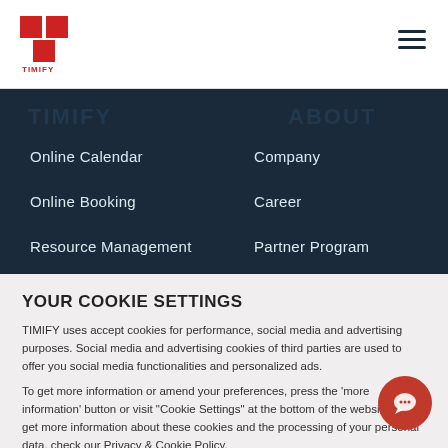TIMIFY logo and hamburger menu
TIMIFY (heading, partially visible)
About (heading, partially visible)
Online Calendar
Company
Online Booking
Career
Resource Management
Partner Program
Customer Management
Blog
YOUR COOKIE SETTINGS
TIMIFY uses accept cookies for performance, social media and advertising purposes. Social media and advertising cookies of third parties are used to offer you social media functionalities and personalized ads.
To get more information or amend your preferences, press the 'more information' button or visit "Cookie Settings" at the bottom of the website. To get more information about these cookies and the processing of your personal data, check our Privacy & Cookie Policy.